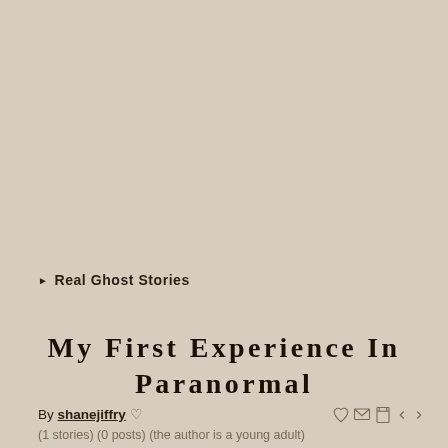Real Ghost Stories
My First Experience In Paranormal
By shanejiffry ♡
(1 stories) (0 posts) (the author is a young adult)
Date: 2015-03-05